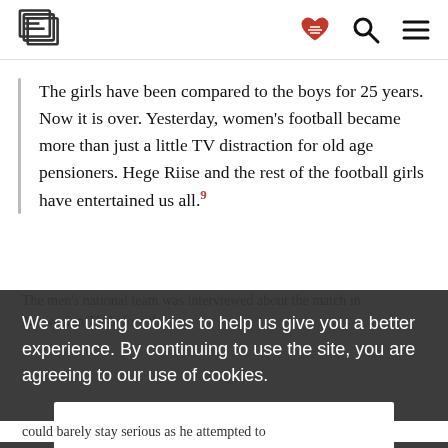[Esquire logo] [heart handshake icon] [search icon] [menu icon]
The girls have been compared to the boys for 25 years. Now it is over. Yesterday, women's football became more than just a little TV distraction for old age pensioners. Hege Riise and the rest of the football girls have entertained us all.⁹
The men's national team was interviewed about the match in Norwegian TV before the...
We are using cookies to help us give you a better experience. By continuing to use the site, you are agreeing to our use of cookies.
Confirm
could barely stay serious as he attempted to